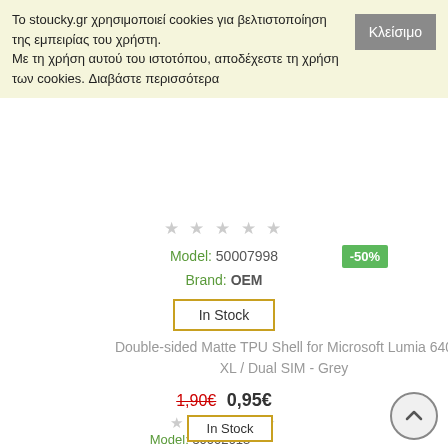Το stoucky.gr χρησιμοποιεί cookies για βελτιστοποίηση της εμπειρίας του χρήστη. Με τη χρήση αυτού του ιστοτόπου, αποδέχεστε τη χρήση των cookies. Διαβάστε περισσότερα
Κλείσιμο
Double-sided Matte TPU
Lumia 950 XL - White
1,90€  0,95€
★★★★★
Model: 50007998
Brand: OEM
In Stock
-50%
Double-sided Matte TPU Shell for Microsoft Lumia 640 XL / Dual SIM - Grey
1,90€  0,95€
★★★★★
Model: 50002613
In Stock